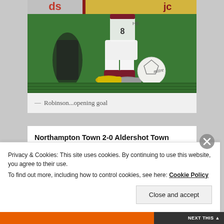[Figure (photo): A soccer/football player in white and maroon kit (number 8) dribbling a Mitre football on a green grass pitch. Stadium advertising boards visible in background including 'ds' and 'jc' text. Yellow boot of another player visible.]
— Robinson...opening goal
Northampton Town 2-0 Aldershot Town
League Two
Privacy & Cookies: This site uses cookies. By continuing to use this website, you agree to their use.
To find out more, including how to control cookies, see here: Cookie Policy
Close and accept